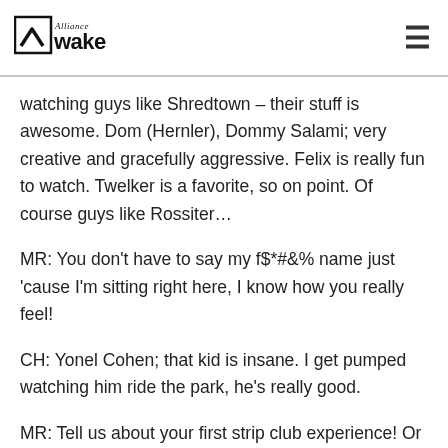Alliance Wake
watching guys like Shredtown – their stuff is awesome. Dom (Hernler), Dommy Salami; very creative and gracefully aggressive. Felix is really fun to watch. Twelker is a favorite, so on point. Of course guys like Rossiter…
MR: You don't have to say my f$*#&% name just 'cause I'm sitting right here, I know how you really feel!
CH: Yonel Cohen; that kid is insane. I get pumped watching him ride the park, he's really good.
MR: Tell us about your first strip club experience! Or